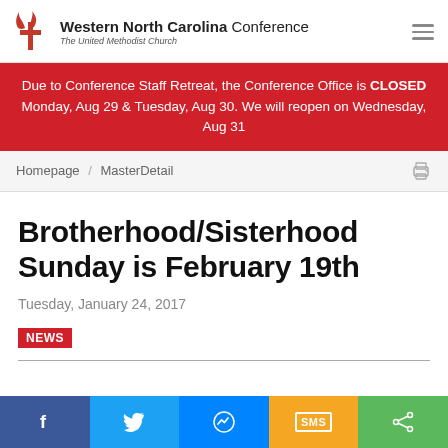Western North Carolina Conference The United Methodist Church
Due to Conference Staff Retreat, the Conference Office is CLOSED Monday, Aug 29 & Tuesday, Aug 30. We will reopen on Wednesday, Aug 31
Homepage / MasterDetail
Brotherhood/Sisterhood Sunday is February 19th
Tuesday, January 24, 2017
NEWS